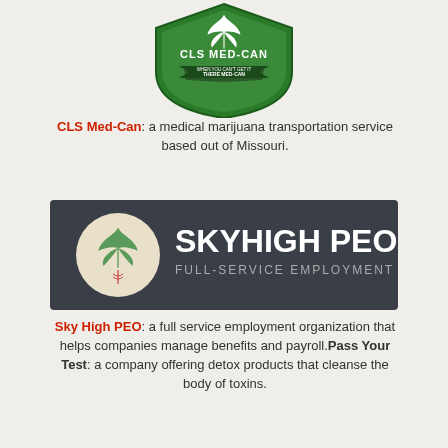[Figure (logo): CLS Med-Can shield logo with cannabis leaf on top, green shield, text 'CLS MED-CAN' and 'WHEN YOU CAN'T GET IT THERE MED-CAN']
CLS Med-Can: a medical marijuana transportation service based out of Missouri.
[Figure (logo): Sky High PEO logo on dark background, with circular cannabis leaf icon and text 'SKYHIGH PEO FULL-SERVICE EMPLOYMENT ORGANIZATION']
Sky High PEO: a full service employment organization that helps companies manage benefits and payroll.Pass Your Test: a company offering detox products that cleanse the body of toxins.